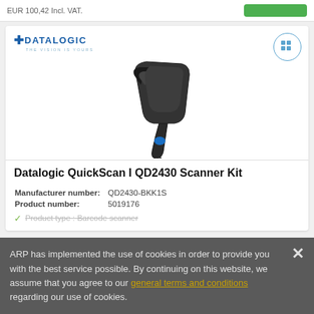EUR 100,42 Incl. VAT.
[Figure (logo): Datalogic logo with blue cross symbol and tagline 'THE VISION IS YOURS']
[Figure (photo): Datalogic QuickScan I QD2430 barcode scanner, black handheld device with blue button]
Datalogic QuickScan I QD2430 Scanner Kit
Manufacturer number: QD2430-BKK1S
Product number: 5019176
Product type : Barcode scanner
ARP has implemented the use of cookies in order to provide you with the best service possible. By continuing on this website, we assume that you agree to our general terms and conditions regarding our use of cookies.